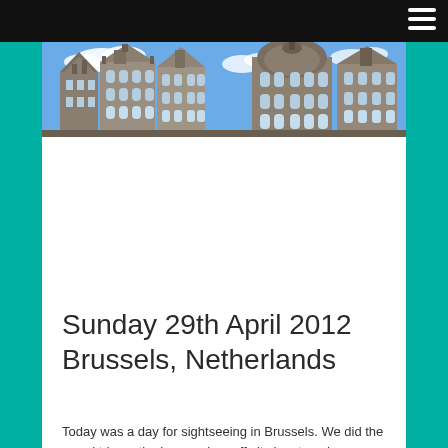[Figure (photo): Photo of Brussels historic architecture — tall ornate Gothic-style buildings with pointed rooftops against a blue sky with clouds]
Sunday 29th April 2012 Brussels, Netherlands
Today was a day for sightseeing in Brussels. We did the round trip on the hop on, hop off city bus tour, however we did not get off!! Fortunately